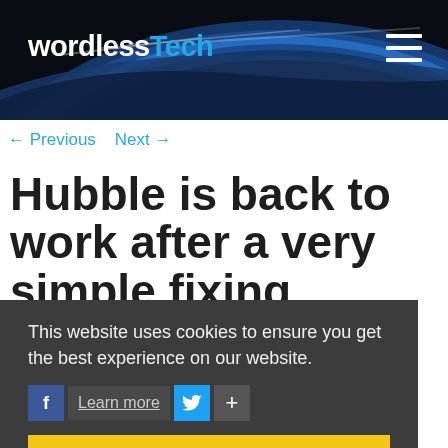wordlessTech
← Previous  Next →
Hubble is back to work after a very simple fixing
This website uses cookies to ensure you get the best experience on our website.
Learn more
Got it!